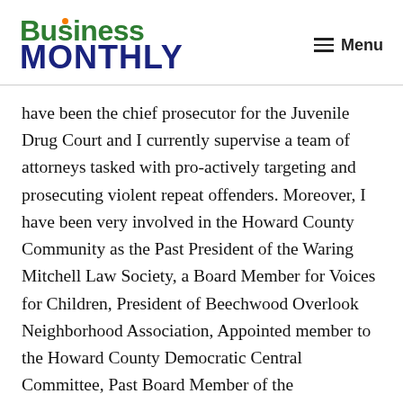Business Monthly — Menu
have been the chief prosecutor for the Juvenile Drug Court and I currently supervise a team of attorneys tasked with pro-actively targeting and prosecuting violent repeat offenders. Moreover, I have been very involved in the Howard County Community as the Past President of the Waring Mitchell Law Society, a Board Member for Voices for Children, President of Beechwood Overlook Neighborhood Association, Appointed member to the Howard County Democratic Central Committee, Past Board Member of the